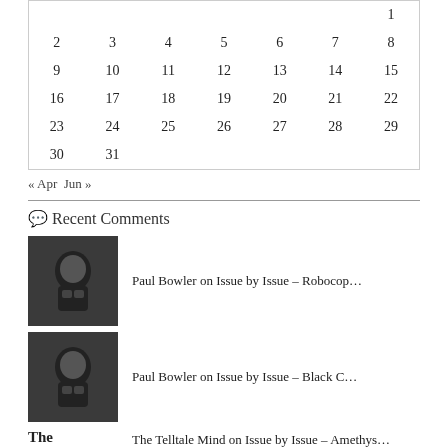| Sun | Mon | Tue | Wed | Thu | Fri | Sat |
| --- | --- | --- | --- | --- | --- | --- |
|  |  |  |  |  |  | 1 |
| 2 | 3 | 4 | 5 | 6 | 7 | 8 |
| 9 | 10 | 11 | 12 | 13 | 14 | 15 |
| 16 | 17 | 18 | 19 | 20 | 21 | 22 |
| 23 | 24 | 25 | 26 | 27 | 28 | 29 |
| 30 | 31 |  |  |  |  |  |
« Apr  Jun »
Recent Comments
Paul Bowler on Issue by Issue – Robocop…
Paul Bowler on Issue by Issue – Black C…
The Telltale Mind on Issue by Issue – Amethys…